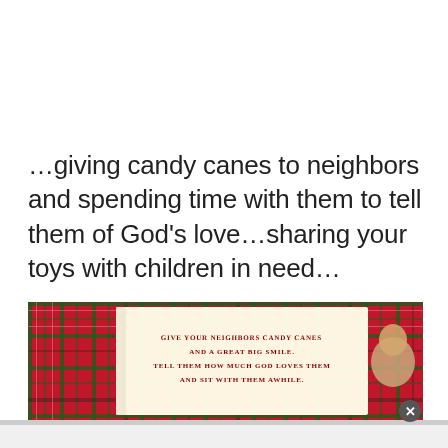…giving candy canes to neighbors and spending time with them to tell them of God's love…sharing your toys with children in need…
[Figure (photo): Open book showing a page with red text in small caps reading 'Give your neighbors candy canes and a great big smile. Tell them how much God loves them and sit with them awhile.' The book is placed on a red tartan plaid fabric background. A child's head is partially visible at the right edge.]